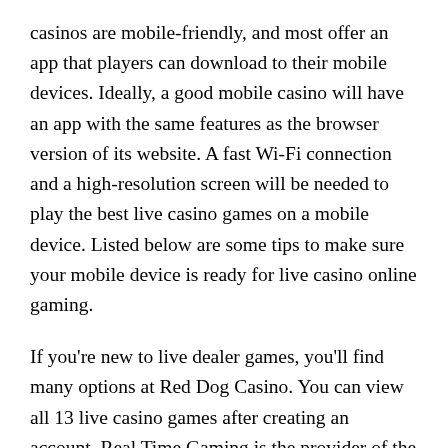casinos are mobile-friendly, and most offer an app that players can download to their mobile devices. Ideally, a good mobile casino will have an app with the same features as the browser version of its website. A fast Wi-Fi connection and a high-resolution screen will be needed to play the best live casino games on a mobile device. Listed below are some tips to make sure your mobile device is ready for live casino online gaming.
If you're new to live dealer games, you'll find many options at Red Dog Casino. You can view all 13 live casino games after creating an account. Real Time Gaming is the provider of the games at Red Dog Casino. You can take advantage of generous welcome bonuses at Red Dog Casino, including a 225% bonus when you make your first deposit. Bitcoin and NeoSurf deposits also qualify for a 20% bonus. Depending on